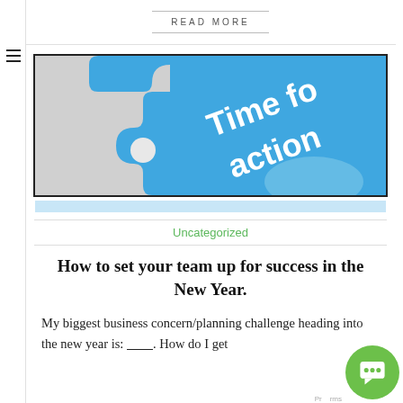READ MORE
[Figure (photo): Blue puzzle piece with white bold text reading 'Time for action' on a white background, partially cropped.]
Uncategorized
How to set your team up for success in the New Year.
My biggest business concern/planning challenge heading into the new year is: _________. How do I get